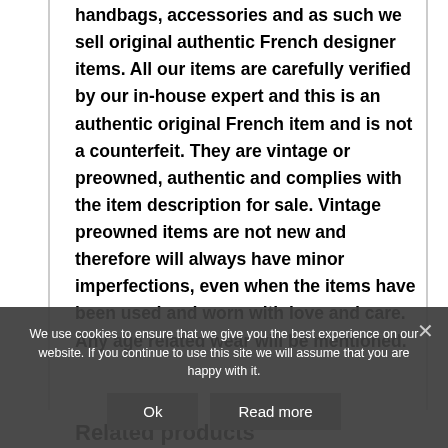handbags, accessories and as such we sell original authentic French designer items. All our items are carefully verified by our in-house expert and this is an authentic original French item and is not a counterfeit. They are vintage or preowned, authentic and complies with the item description for sale. Vintage preowned items are not new and therefore will always have minor imperfections, even when the items have been used and worn with love and care. Any age related wear will be mentioned.
We use cookies to ensure that we give you the best experience on our website. If you continue to use this site we will assume that you are happy with it.
Related products